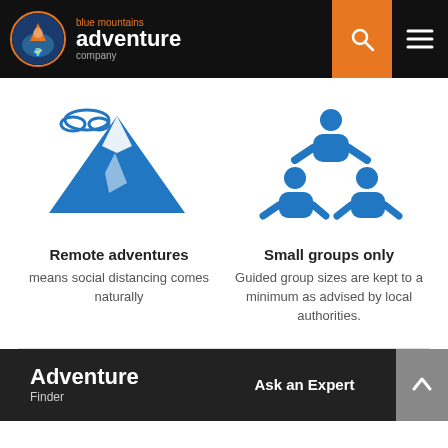[Figure (logo): Blue Mountains Adventure Company logo with orange circle and text on black header bar with search and menu icons]
[Figure (illustration): Blue mountain with snow cap and cloud icon]
[Figure (illustration): Blue icon of three people in a group/pyramid arrangement]
Remote adventures
means social distancing comes naturally
Small groups only
Guided group sizes are kept to a minimum as advised by local authorities.
Adventure Finder | Ask an Expert